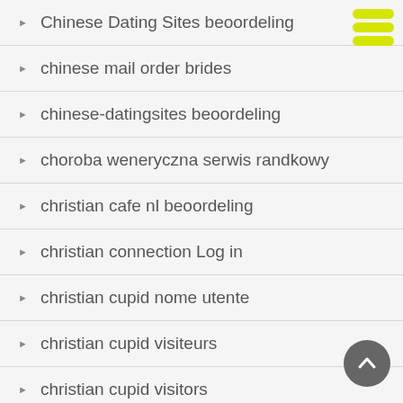Chinese Dating Sites beoordeling
chinese mail order brides
chinese-datingsites beoordeling
choroba weneryczna serwis randkowy
christian cafe nl beoordeling
christian connection Log in
christian cupid nome utente
christian cupid visiteurs
christian cupid visitors